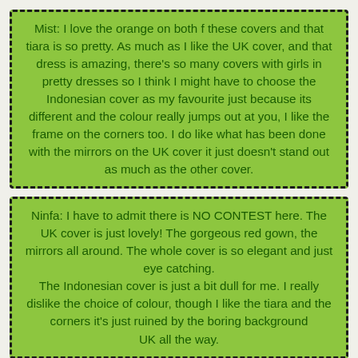Mist: I love the orange on both f these covers and that tiara is so pretty. As much as I like the UK cover, and that dress is amazing, there's so many covers with girls in pretty dresses so I think I might have to choose the Indonesian cover as my favourite just because its different and the colour really jumps out at you, I like the frame on the corners too. I do like what has been done with the mirrors on the UK cover it just doesn't stand out as much as the other cover.
Ninfa: I have to admit there is NO CONTEST here. The UK cover is just lovely! The gorgeous red gown, the mirrors all around. The whole cover is so elegant and just eye catching.
The Indonesian cover is just a bit dull for me. I really dislike the choice of colour, though I like the tiara and the corners it's just ruined by the boring background
UK all the way.
Which do you prefer?